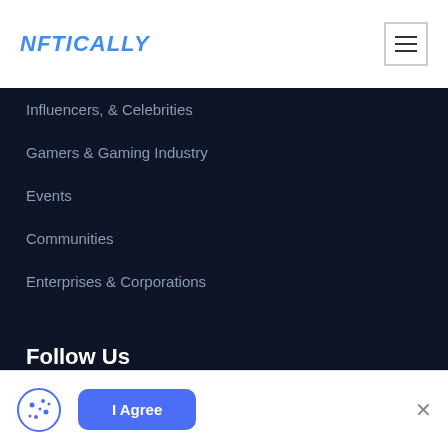NFTICALLY
Influencers, & Celebrities
Gamers & Gaming Industry
Events
Communities
Enterprises & Corporations
Follow Us
I Agree